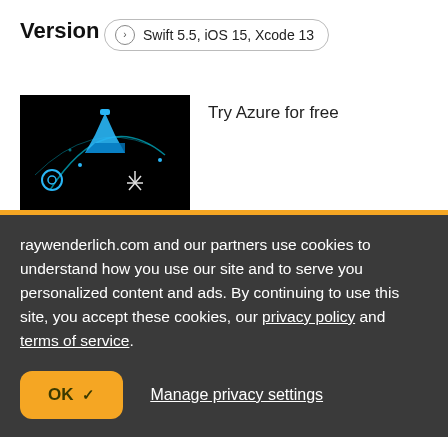Version
Swift 5.5, iOS 15, Xcode 13
[Figure (illustration): Dark advertisement image with blue flask icon and geometric network graphics on black background]
Try Azure for free
raywenderlich.com and our partners use cookies to understand how you use our site and to serve you personalized content and ads. By continuing to use this site, you accept these cookies, our privacy policy and terms of service.
OK ✓
Manage privacy settings